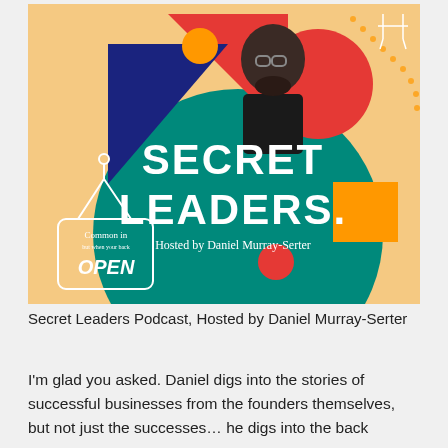[Figure (illustration): Secret Leaders Podcast cover art. Colorful geometric shapes (triangles in red, blue, orange, large green circle, orange rectangle, red circle) on a sandy/peach background. White text reads 'SECRET LEADERS' with 'Hosted by Daniel Murray-Serter' below. A man with glasses and a beard is visible in the upper center. Decorative doodles including an 'OPEN' sign on the left side and dotted lines on the right.]
Secret Leaders Podcast, Hosted by Daniel Murray-Serter
I'm glad you asked. Daniel digs into the stories of successful businesses from the founders themselves, but not just the successes… he digs into the back